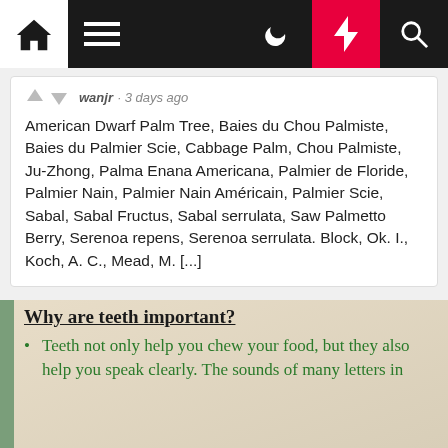Navigation bar with home, menu, moon, bolt, search icons
wanjr · 3 days ago
American Dwarf Palm Tree, Baies du Chou Palmiste, Baies du Palmier Scie, Cabbage Palm, Chou Palmiste, Ju-Zhong, Palma Enana Americana, Palmier de Floride, Palmier Nain, Palmier Nain Américain, Palmier Scie, Sabal, Sabal Fructus, Sabal serrulata, Saw Palmetto Berry, Serenoa repens, Serenoa serrulata. Block, Ok. I., Koch, A. C., Mead, M. [...]
[Figure (photo): Handwritten anchor chart on paper asking 'Why are teeth important?' with bullet point in green marker: 'Teeth not only help you chew your food, but they also help you speak clearly. The sounds of many letters in...']